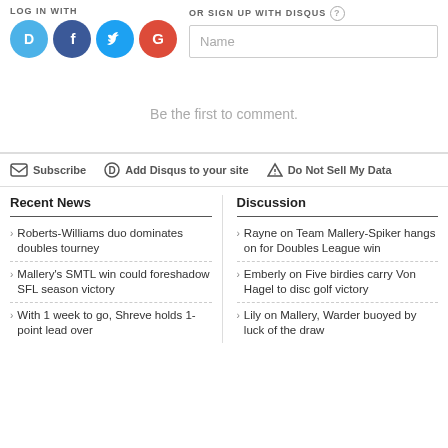LOG IN WITH
[Figure (logo): Social login icons: Disqus (D, blue), Facebook (F, dark blue), Twitter (bird, light blue), Google (G, red)]
OR SIGN UP WITH DISQUS
Name
Be the first to comment.
Subscribe
Add Disqus to your site
Do Not Sell My Data
Recent News
Discussion
Roberts-Williams duo dominates doubles tourney
Mallery's SMTL win could foreshadow SFL season victory
With 1 week to go, Shreve holds 1-point lead over
Rayne on Team Mallery-Spiker hangs on for Doubles League win
Emberly on Five birdies carry Von Hagel to disc golf victory
Lily on Mallery, Warder buoyed by luck of the draw